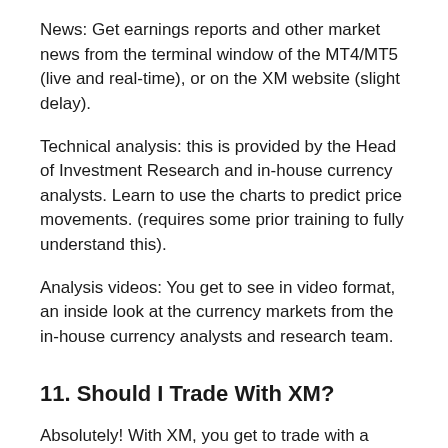News: Get earnings reports and other market news from the terminal window of the MT4/MT5 (live and real-time), or on the XM website (slight delay).
Technical analysis: this is provided by the Head of Investment Research and in-house currency analysts. Learn to use the charts to predict price movements. (requires some prior training to fully understand this).
Analysis videos: You get to see in video format, an inside look at the currency markets from the in-house currency analysts and research team.
11. Should I Trade With XM?
Absolutely! With XM, you get to trade with a broker that is regulated in 3 jurisdictions. The various account types ensure that there is an account for everyone. Multiple means of deposits/withdrawals mean that no matter where you are in the world, you have a way to deposit and withdraw funds without stress. What is the next step to do with XM?